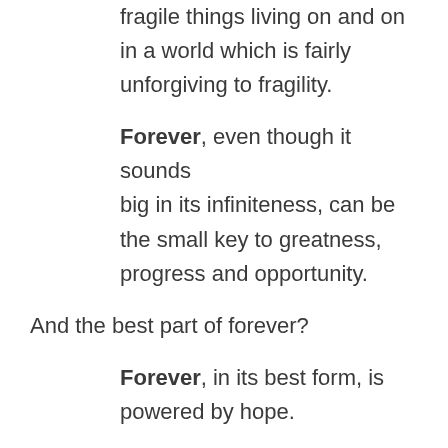fragile things living on and on in a world which is fairly unforgiving to fragility.
Forever, even though it sounds big in its infiniteness, can be the small key to greatness, progress and opportunity.
And the best part of forever?
Forever, in its best form, is powered by hope.
Well, maybe this is a good place to end